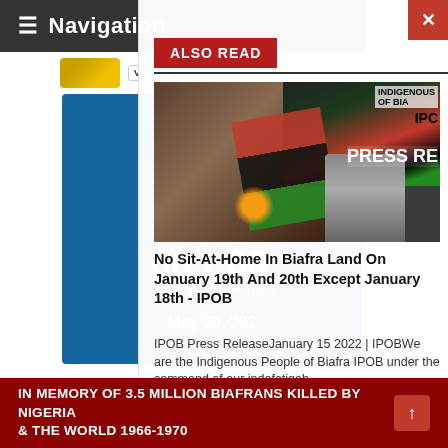≡ Navigation
[Figure (screenshot): Payment card logos: Visa, Mastercard, American Express]
[Figure (infographic): Biafra Heroes countdown box showing 0 Days, 00 Hours, 00 Minutes, May 30, 202...]
ALSO READ
[Figure (photo): Photo of IPOB members with Biafra flag, sign reading INDIGENOUS OF BIA IPC, PRESS RE]
No Sit-At-Home In Biafra Land On January 19th And 20th Except January 18th - IPOB
IPOB Press ReleaseJanuary 15 2022 | IPOBWe are the Indigenous People of Biafra IPOB under the command of our indefatigab
IN MEMORY OF 3.5 MILLION BIAFRANS KILLED BY NIGERIA & THE WORLD 1966-1970